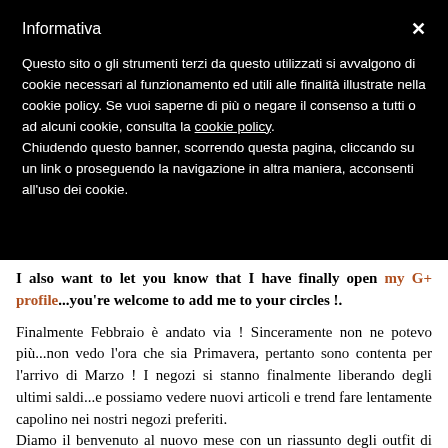Informativa
Questo sito o gli strumenti terzi da questo utilizzati si avvalgono di cookie necessari al funzionamento ed utili alle finalità illustrate nella cookie policy. Se vuoi saperne di più o negare il consenso a tutti o ad alcuni cookie, consulta la cookie policy. Chiudendo questo banner, scorrendo questa pagina, cliccando su un link o proseguendo la navigazione in altra maniera, acconsenti all'uso dei cookie.
I also want to let you know that I have finally open my G+ profile...you're welcome to add me to your circles !.
Finalmente Febbraio è andato via ! Sinceramente non ne potevo più...non vedo l'ora che sia Primavera, pertanto sono contenta per l'arrivo di Marzo ! I negozi si stanno finalmente liberando degli ultimi saldi...e possiamo vedere nuovi articoli e trend fare lentamente capolino nei nostri negozi preferiti. Diamo il benvenuto al nuovo mese con un riassunto degli outfit di Febbraio ! Sono curiosa di sapere qual è il vostro preferito...come sempre, il vostro feedback è molto apprezzato !